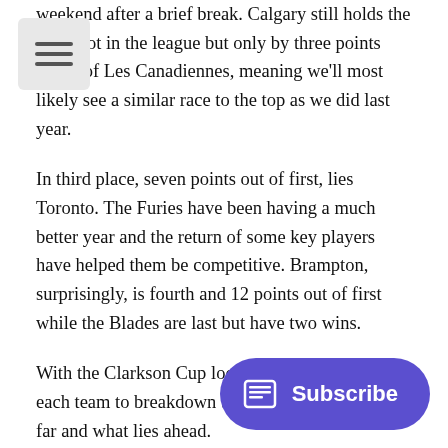weekend after a brief break. Calgary still holds the first spot in the league but only by three points ahead of Les Canadiennes, meaning we'll most likely see a similar race to the top as we did last year.
In third place, seven points out of first, lies Toronto. The Furies have been having a much better year and the return of some key players have helped them be competitive. Brampton, surprisingly, is fourth and 12 points out of first while the Blades are last but have two wins.
With the Clarkson Cup looming, I took a look at each team to breakdown the season they've had so far and what lies ahead.
But before we go there, here's the CWHL holiday video, in case you missed it.
Boston Blades